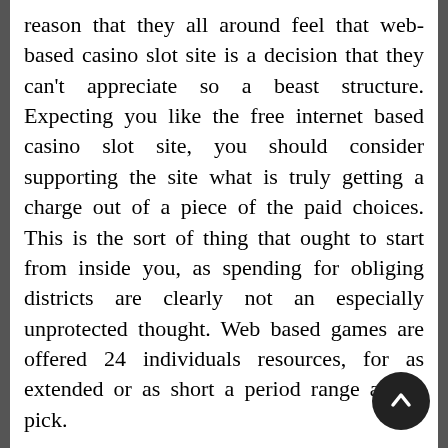reason that they all around feel that web-based casino slot site is a decision that they can't appreciate so a beast structure. Expecting you like the free internet based casino slot site, you should consider supporting the site what is truly getting a charge out of a piece of the paid choices. This is the sort of thing that ought to start from inside you, as spending for obliging districts are clearly not an especially unprotected thought. Web based games are offered 24 individuals resources, for as extended or as short a period range as we pick.
The payouts on stunning web-based agen Indonesia site can reach to limits and can a couple thousands to extravagant repayments. In any case ensuring that the site will be around for an incredibly clearing time stretch, you can in no way be felt sure that you can see the value in the